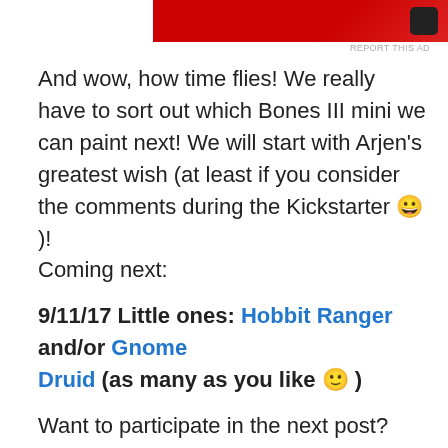[Figure (other): Red advertisement banner with dark device icon on the right]
REPORT THIS AD
And wow, how time flies! We really have to sort out which Bones III mini we can paint next! We will start with Arjen's greatest wish (at least if you consider the comments during the Kickstarter 😀 )!
Coming next:
9/11/17 Little ones: Hobbit Ranger and/or Gnome Druid (as many as you like 🙂 )
Want to participate in the next post? Email the pictures of your minis until Friday 09/08/17 to
MondayMiniature@fantasymail.de  (It's a .de domain, in